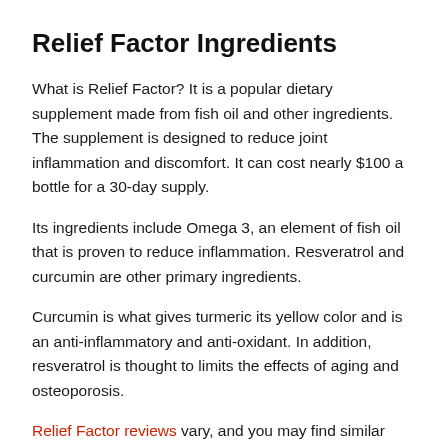Relief Factor Ingredients
What is Relief Factor? It is a popular dietary supplement made from fish oil and other ingredients. The supplement is designed to reduce joint inflammation and discomfort. It can cost nearly $100 a bottle for a 30-day supply.
Its ingredients include Omega 3, an element of fish oil that is proven to reduce inflammation. Resveratrol and curcumin are other primary ingredients.
Curcumin is what gives turmeric its yellow color and is an anti-inflammatory and anti-oxidant. In addition, resveratrol is thought to limits the effects of aging and osteoporosis.
Relief Factor reviews vary, and you may find similar reports